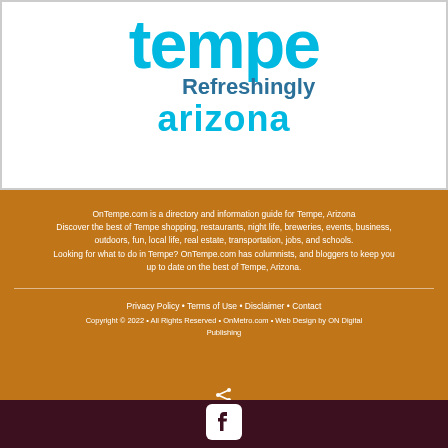[Figure (logo): Tempe Refreshingly Arizona logo in cyan/blue colors]
OnTempe.com is a directory and information guide for Tempe, Arizona Discover the best of Tempe shopping, restaurants, night life, breweries, events, business, outdoors, fun, local life, real estate, transportation, jobs, and schools. Looking for what to do in Tempe? OnTempe.com has columnists, and bloggers to keep you up to date on the best of Tempe, Arizona.
Privacy Policy • Terms of Use • Disclaimer • Contact
Copyright © 2022 • All Rights Reserved • OnMetro.com • Web Design by ON Digital Publishing
[Figure (logo): Facebook social media icon (white F on dark rounded square)]